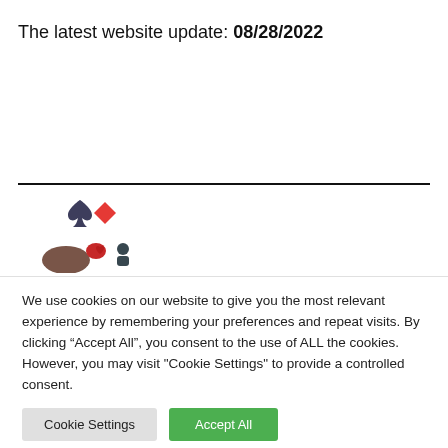The latest website update: 08/28/2022
[Figure (illustration): Card game icon showing spade and diamond card suit symbols above stylized player figures in dark and red colors]
We use cookies on our website to give you the most relevant experience by remembering your preferences and repeat visits. By clicking "Accept All", you consent to the use of ALL the cookies. However, you may visit "Cookie Settings" to provide a controlled consent.
Cookie Settings | Accept All